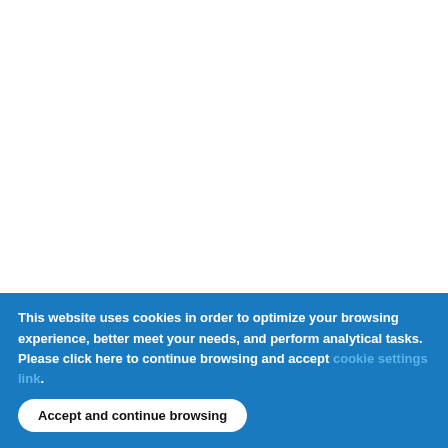[Figure (screenshot): Website screenshot showing a white left column, a light blue middle column, and a right column with vertically rotated text reading 'detail...DataReaderListen']
detail...DataReaderListen
This website uses cookies in order to optimize your browsing experience, better meet your needs, and perform analytical tasks. Please click here to continue browsing and accept [cookie settings link].
Accept and continue browsing